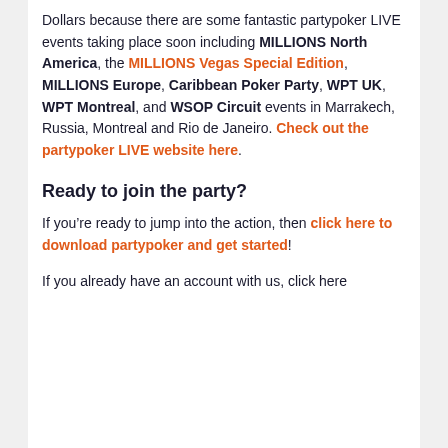Dollars because there are some fantastic partypoker LIVE events taking place soon including MILLIONS North America, the MILLIONS Vegas Special Edition, MILLIONS Europe, Caribbean Poker Party, WPT UK, WPT Montreal, and WSOP Circuit events in Marrakech, Russia, Montreal and Rio de Janeiro. Check out the partypoker LIVE website here.
Ready to join the party?
If you're ready to jump into the action, then click here to download partypoker and get started!
If you already have an account with us, click here